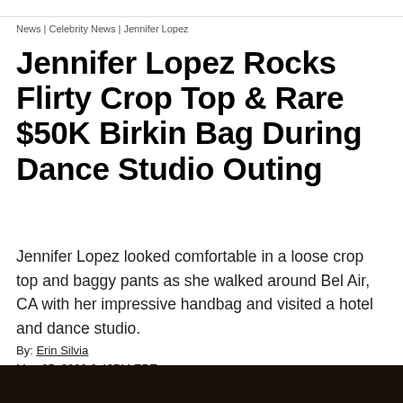News | Celebrity News | Jennifer Lopez
Jennifer Lopez Rocks Flirty Crop Top & Rare $50K Birkin Bag During Dance Studio Outing
Jennifer Lopez looked comfortable in a loose crop top and baggy pants as she walked around Bel Air, CA with her impressive handbag and visited a hotel and dance studio.
By: Erin Silvia
May 25, 2022 9:46PM EDT
[Figure (photo): Dark photo strip at bottom of page, partial view of a person]